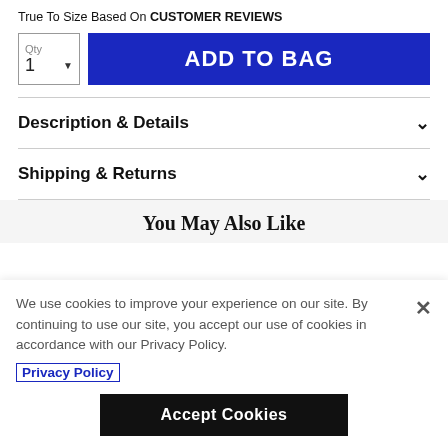True To Size Based On CUSTOMER REVIEWS
Qty 1  ADD TO BAG
Description & Details
Shipping & Returns
You May Also Like
We use cookies to improve your experience on our site. By continuing to use our site, you accept our use of cookies in accordance with our Privacy Policy.
Privacy Policy
Accept Cookies